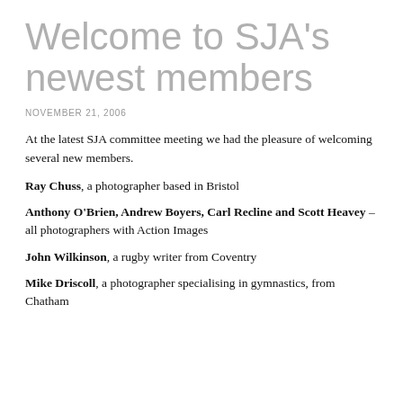Welcome to SJA's newest members
NOVEMBER 21, 2006
At the latest SJA committee meeting we had the pleasure of welcoming several new members.
Ray Chuss, a photographer based in Bristol
Anthony O'Brien, Andrew Boyers, Carl Recline and Scott Heavey – all photographers with Action Images
John Wilkinson, a rugby writer from Coventry
Mike Driscoll, a photographer specialising in gymnastics, from Chatham